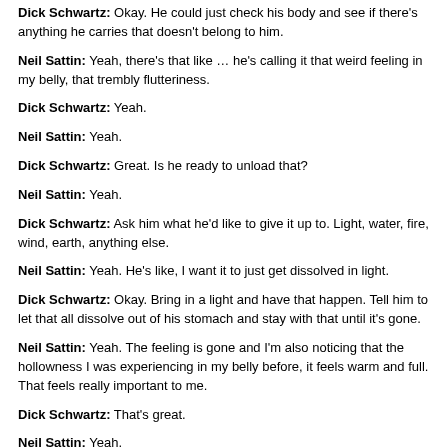Dick Schwartz: Okay. He could just check his body and see if there's anything he carries that doesn't belong to him.
Neil Sattin: Yeah, there's that like … he's calling it that weird feeling in my belly, that trembly flutteriness.
Dick Schwartz: Yeah.
Neil Sattin: Yeah.
Dick Schwartz: Great. Is he ready to unload that?
Neil Sattin: Yeah.
Dick Schwartz: Ask him what he'd like to give it up to. Light, water, fire, wind, earth, anything else.
Neil Sattin: Yeah. He's like, I want it to just get dissolved in light.
Dick Schwartz: Okay. Bring in a light and have that happen. Tell him to let that all dissolve out of his stomach and stay with that until it's gone.
Neil Sattin: Yeah. The feeling is gone and I'm also noticing that the hollowness I was experiencing in my belly before, it feels warm and full. That feels really important to me.
Dick Schwartz: That's great.
Neil Sattin: Yeah.